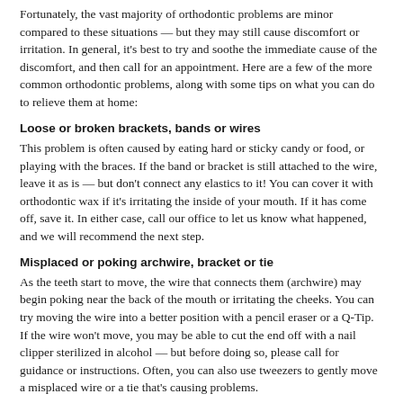Fortunately, the vast majority of orthodontic problems are minor compared to these situations — but they may still cause discomfort or irritation. In general, it's best to try and soothe the immediate cause of the discomfort, and then call for an appointment. Here are a few of the more common orthodontic problems, along with some tips on what you can do to relieve them at home:
Loose or broken brackets, bands or wires
This problem is often caused by eating hard or sticky candy or food, or playing with the braces. If the band or bracket is still attached to the wire, leave it as is — but don't connect any elastics to it! You can cover it with orthodontic wax if it's irritating the inside of your mouth. If it has come off, save it. In either case, call our office to let us know what happened, and we will recommend the next step.
Misplaced or poking archwire, bracket or tie
As the teeth start to move, the wire that connects them (archwire) may begin poking near the back of the mouth or irritating the cheeks. You can try moving the wire into a better position with a pencil eraser or a Q-Tip. If the wire won't move, you may be able to cut the end off with a nail clipper sterilized in alcohol — but before doing so, please call for guidance or instructions. Often, you can also use tweezers to gently move a misplaced wire or a tie that's causing problems.
When wires or brackets cause irritation, covering the metal parts with wax will often help ease the discomfort. As with any of these types of problems, it's best to make an appointment so it can be taken care of.
General tooth pain or loosening